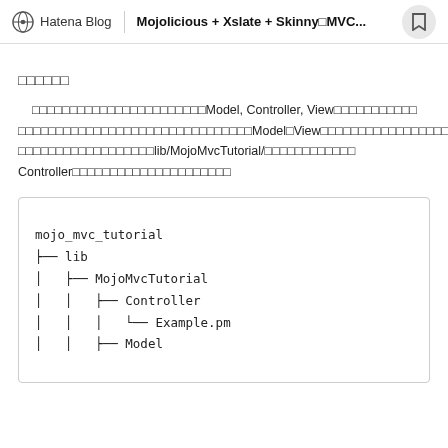Hatena Blog | Mojolicious + Xslate + Skinny□MVC...
□□□□□□
□□□□□□□□□□□□□□□□□□□□□□□Model, Controller, View□□□□□□□□□□□□□□□□□□□□□□□□□□□□□□□□□□□Model□View□□□□□□□□□□□□□□□□□□□□□□□□□□□□□□□□□lib/MojoMvcTutorial/□□□□□□□□□□□□Controller□□□□□□□□□□□□□□□□□□□□□
[Figure (other): Directory tree structure showing mojo_mvc_tutorial project layout with lib, MojoMvcTutorial, Controller, Example.pm, and Model directories]